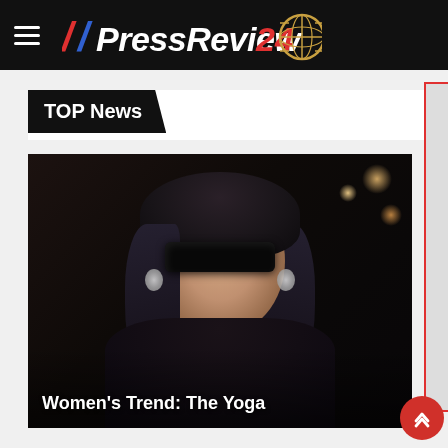PressReview24 — navigation header with logo
TOP News
[Figure (photo): A woman with dark hair, wearing large dark sunglasses and sparkly earrings, dressed in black, photographed indoors in a dimly lit setting. Text overlay reads: Women's Trend: The Yoga]
Women's Trend: The Yoga